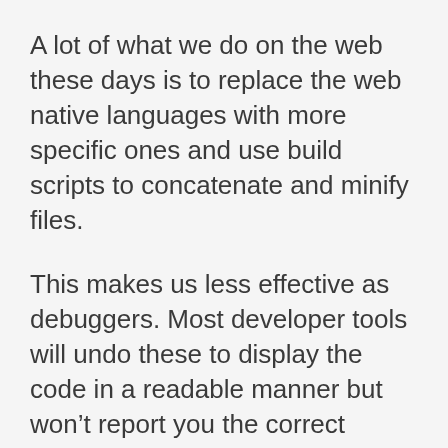A lot of what we do on the web these days is to replace the web native languages with more specific ones and use build scripts to concatenate and minify files.
This makes us less effective as debuggers. Most developer tools will undo these to display the code in a readable manner but won’t report you the correct location of the erroneous code.
Source Mapping will solve this. For now, our developer tools will for example allow developers to write in Coffeescript and report both the error line in the generated JavaScript and in the source. This could in the future be extended to LESS or SASS or…